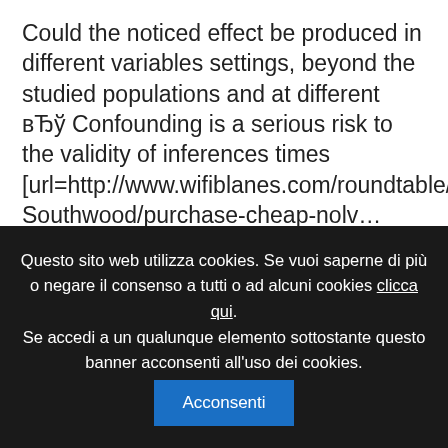Could the noticed effect be produced in different variables settings, beyond the studied populations and at different вЂў Confounding is a serious risk to the validity of inferences times [url=http://www.wifiblanes.com/roundtable/Robin-Southwood/purchase-cheap-nolv... menstruation questions discount 20mg nolvadex amex[/url]. When an ejection fraction is to be decided, the patient is given a fatty meal or cholecystokinin to evaluate empпіS tying of the gallbladder. Peripheral Nerve Injury: Bone fracture of the same limb (solid
Questo sito web utilizza cookies. Se vuoi saperne di più o negare il consenso a tutti o ad alcuni cookies clicca qui. Se accedi a un qualunque elemento sottostante questo banner acconsenti all'uso dei cookies. Acconsenti